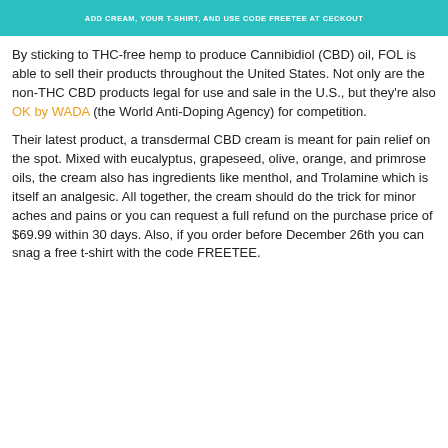ADD CREAM, YOUR T-SHIRT, AND USE CODE FREETEE AT CECKOUT
By sticking to THC-free hemp to produce Cannibidiol (CBD) oil, FOL is able to sell their products throughout the United States. Not only are the non-THC CBD products legal for use and sale in the U.S., but they're also OK by WADA (the World Anti-Doping Agency) for competition.
Their latest product, a transdermal CBD cream is meant for pain relief on the spot. Mixed with eucalyptus, grapeseed, olive, orange, and primrose oils, the cream also has ingredients like menthol, and Trolamine which is itself an analgesic. All together, the cream should do the trick for minor aches and pains or you can request a full refund on the purchase price of $69.99 within 30 days. Also, if you order before December 26th you can snag a free t-shirt with the code FREETEE.